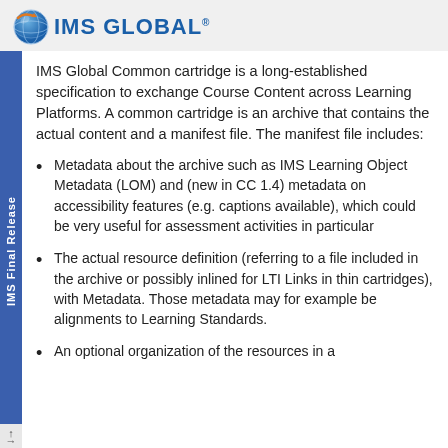IMS GLOBAL
IMS Global Common cartridge is a long-established specification to exchange Course Content across Learning Platforms. A common cartridge is an archive that contains the actual content and a manifest file. The manifest file includes:
Metadata about the archive such as IMS Learning Object Metadata (LOM) and (new in CC 1.4) metadata on accessibility features (e.g. captions available), which could be very useful for assessment activities in particular
The actual resource definition (referring to a file included in the archive or possibly inlined for LTI Links in thin cartridges), with Metadata. Those metadata may for example be alignments to Learning Standards.
An optional organization of the resources in a